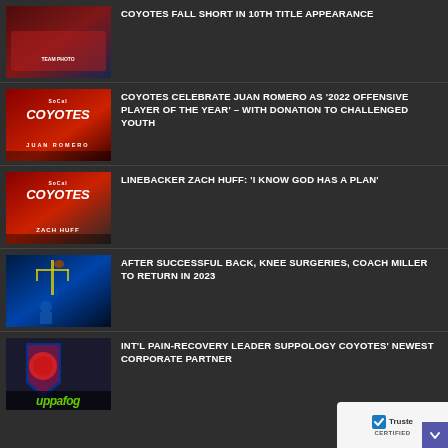COYOTES FALL SHORT IN 10TH TITLE APPEARANCE
COYOTES CELEBRATE JUAN ROMERO AS '2022 OFFENSIVE PLAYER OF THE YEAR' – WITH DONATION TO CHALLENGED YOUTH
LINEBACKER ZACH HUFF: 'I KNOW GOD HAS A PLAN'
AFTER SUCCESSFUL BACK, KNEE SURGERIES, COACH MILLER TO RETURN IN 2023
INT'L PAIN-RECOVERY LEADER SUPPOLOGY COYOTES' NEWEST CORPORATE PARTNER